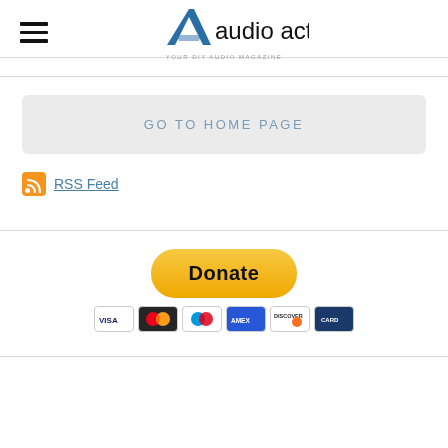[Figure (logo): Audio Activity logo with stylized A and text 'audio activity']
GO TO HOME PAGE
RSS Feed
[Figure (infographic): PayPal Donate button with payment card icons (Visa, Mastercard, Maestro, Amex, Discover, and another card)]